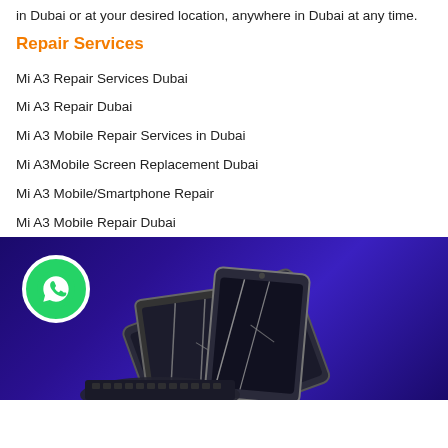in Dubai or at your desired location, anywhere in Dubai at any time.
Repair Services
Mi A3 Repair Services Dubai
Mi A3 Repair Dubai
Mi A3 Mobile Repair Services in Dubai
Mi A3Mobile Screen Replacement Dubai
Mi A3 Mobile/Smartphone Repair
Mi A3 Mobile Repair Dubai
[Figure (illustration): Dark blue/purple banner with WhatsApp icon circle and illustration of stacked broken/cracked smartphones and tablets]